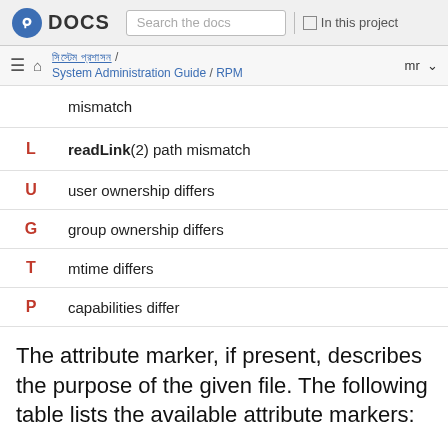Fedora DOCS | Search the docs | In this project
System Administration Guide / RPM  mr
| Code | Description |
| --- | --- |
|  | mismatch |
| L | readLink(2) path mismatch |
| U | user ownership differs |
| G | group ownership differs |
| T | mtime differs |
| P | capabilities differ |
The attribute marker, if present, describes the purpose of the given file. The following table lists the available attribute markers: